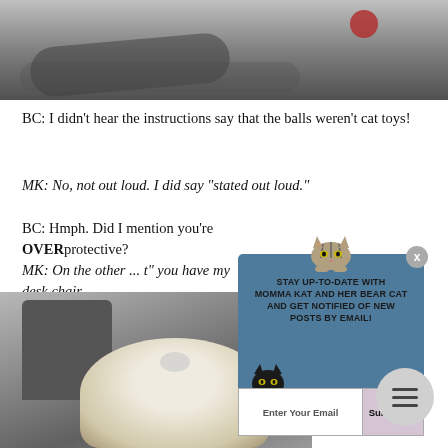[Figure (photo): Photo of a tabby cat lying on a surface with a red ball/toy visible in background, black and white/gray tones]
BC: I didn't hear the instructions say that the balls weren't cat toys!
MK: No, not out loud. I did say "stated out loud."
BC: Hmph. Did I mention you're OVERprotective?
MK: On the other hand ... you have my desk chair ...
[Figure (photo): Photo of a desk chair with a cat visible, grayscale]
[Figure (illustration): Popup modal with blue background showing cartoon tabby cat at top and black cat at bottom left. Text reads: STAY UP-TO-DATE WITH MOMMA KAT AND HER BEAR CAT AND GET NOTIFIED OF NEW POSTS BY EMAIL! with an email subscription input and Subscribe button]
[Figure (other): Hamburger menu button (three horizontal lines) in a circular gray button]